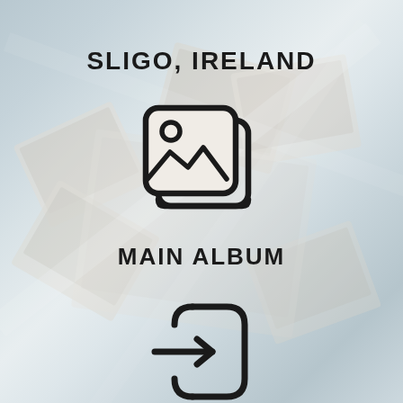SLIGO, IRELAND
[Figure (illustration): Icon of a photo/image album — two overlapping rounded rectangles with a circle (sun) and mountain/landscape lines inside, representing a photo gallery or album]
MAIN ALBUM
[Figure (illustration): Icon of a login or enter action — a rounded rectangle with an arrow pointing right into it from the left side, representing entering or opening an album]